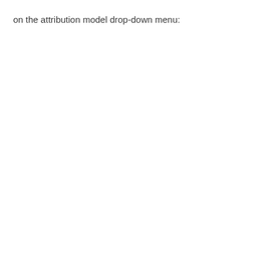on the attribution model drop-down menu: